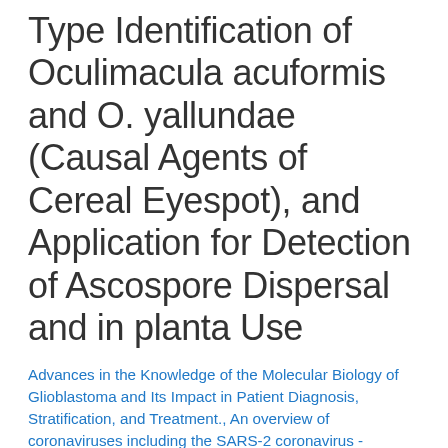Type Identification of Oculimacula acuformis and O. yallundae (Causal Agents of Cereal Eyespot), and Application for Detection of Ascospore Dispersal and in planta Use
Advances in the Knowledge of the Molecular Biology of Glioblastoma and Its Impact in Patient Diagnosis, Stratification, and Treatment., An overview of coronaviruses including the SARS-2 coronavirus - Molecular biology, epidemiology and clinical implications., Antibodies, Assay Kits, Biology Cells, cDNA, Clia Kits, Cryptosporidium propidium monoazide-PCR, a molecular biology-based technique for genotyping of viable Cryptosporidium oocysts., Culture Cells, Devices, DNA, DNA Templates, DNA Testing, Elisa Kits, Equipments, Exosomes, General, Isotypes, Medium & Serums, NATtrol, Panel, PCR, Pcr Kits, Peptides,